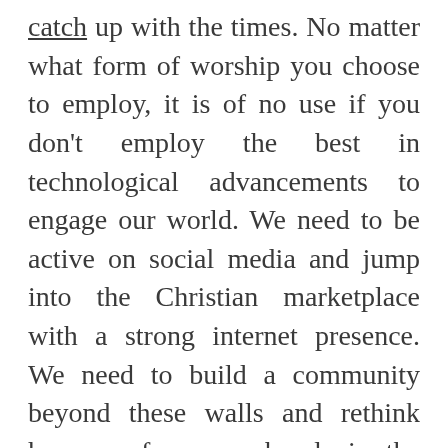catch up with the times. No matter what form of worship you choose to employ, it is of no use if you don't employ the best in technological advancements to engage our world. We need to be active on social media and jump into the Christian marketplace with a strong internet presence. We need to build a community beyond these walls and rethink how we form our bonds in the church. Still others will say that the best way to correct the status quo is to employ the best in business strategies. After all, when any company in our community is facing hard